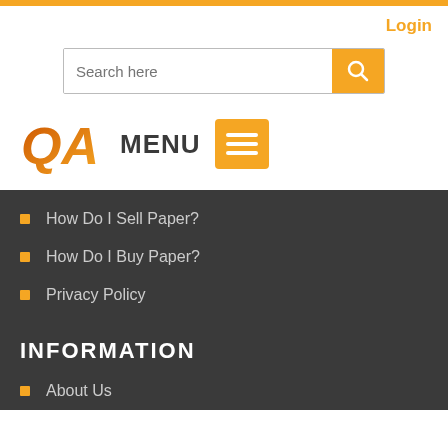Login
[Figure (screenshot): Search bar with orange search button and magnifying glass icon]
[Figure (logo): QA logo in orange/brown italic letters]
MENU
How Do I Sell Paper?
How Do I Buy Paper?
Privacy Policy
INFORMATION
About Us